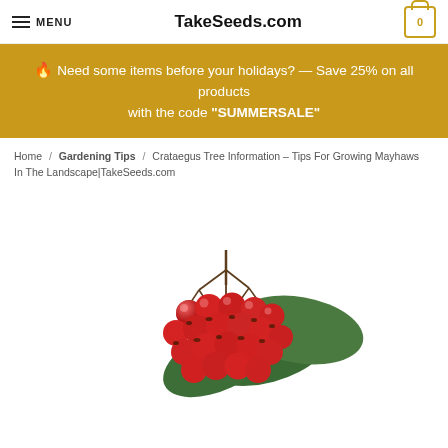MENU  TakeSeeds.com  0
🔥 Need some items before your holidays? — Save 25% on all products with the code "SUMMERSALE"
Home / Gardening Tips / Crataegus Tree Information – Tips For Growing Mayhaws In The Landscape|TakeSeeds.com
[Figure (photo): Cluster of bright red hawthorn (Crataegus) berries with green serrated leaves on a white background]